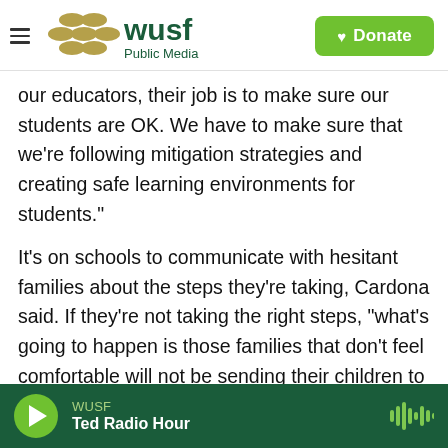WUSF Public Media | Donate
our educators, their job is to make sure our students are OK. We have to make sure that we're following mitigation strategies and creating safe learning environments for students."
It's on schools to communicate with hesitant families about the steps they're taking, Cardona said. If they're not taking the right steps, "what's going to happen is those families that don't feel comfortable will not be sending their children to school."
Cardona added that he knows some school leaders
WUSF | Ted Radio Hour